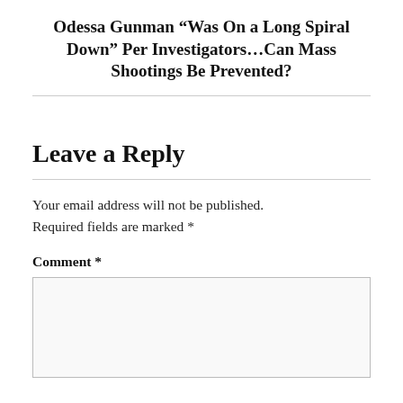Odessa Gunman “Was On a Long Spiral Down” Per Investigators…Can Mass Shootings Be Prevented?
Leave a Reply
Your email address will not be published. Required fields are marked *
Comment *